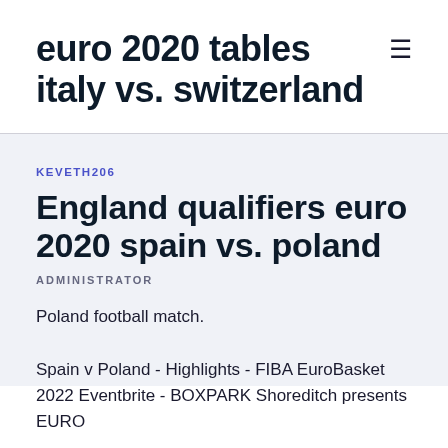euro 2020 tables italy vs. switzerland
KEVETH206
England qualifiers euro 2020 spain vs. poland
ADMINISTRATOR
Poland football match.
Spain v Poland - Highlights - FIBA EuroBasket 2022 Eventbrite - BOXPARK Shoreditch presents EURO